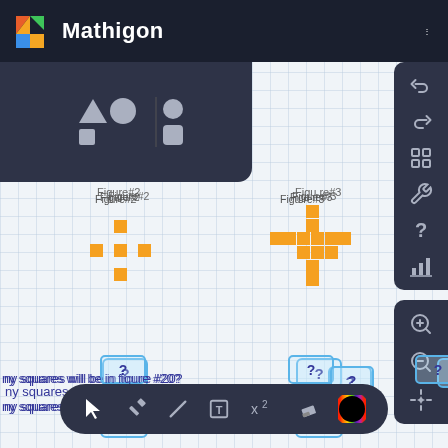Mathigon
[Figure (screenshot): Mathigon interactive math platform screenshot showing pixel art figures (diamond cross shapes made of orange squares) labeled Figure #2 through Figure #5, with input boxes showing question marks for answers, and questions about how many squares will be in figure #20 and figure N]
Figure#2
Figu re#3
Figure#4
Figure#5
ny squares will be in figure #20?
ny squares will be in figure N?